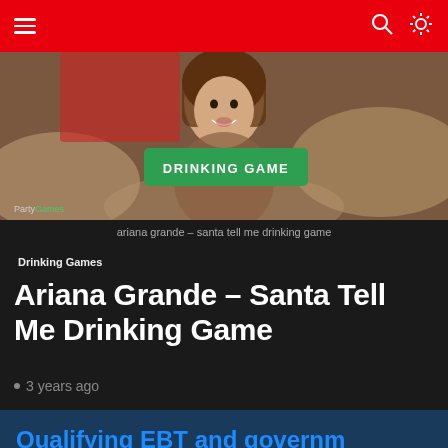Navigation bar with hamburger menu, search, and settings icons
[Figure (photo): Photo of Ariana Grande on a bed with a green 'DRINKING GAME' button overlay and 'PartyGames' watermark in bottom left]
ariana grande – santa tell me drinking game
Drinking Games
Ariana Grande – Santa Tell Me Drinking Game
· 3 years ago
Qualifying EBT and government recipients save 50% on Prime